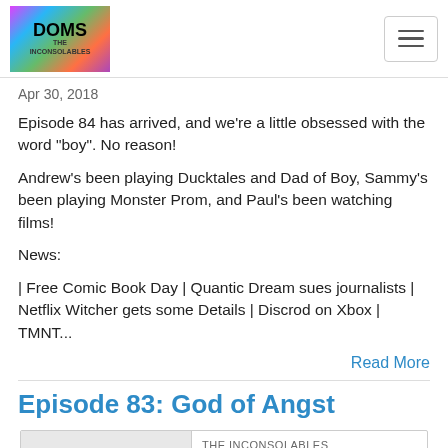THE INCONSOLABLES — navigation bar with logo and hamburger menu
Apr 30, 2018
Episode 84 has arrived, and we're a little obsessed with the word "boy". No reason!
Andrew's been playing Ducktales and Dad of Boy, Sammy's been playing Monster Prom, and Paul's been watching films!
News:
| Free Comic Book Day | Quantic Dream sues journalists | Netflix Witcher gets some Details | Discrod on Xbox | TMNT...
Read More
Episode 83: God of Angst
[Figure (other): Podcast player card showing play button on left gray panel, with 'THE INCONSOLABLES' show name and 'Episode 83: God of Angst' episode title on right, with a gray progress bar below]